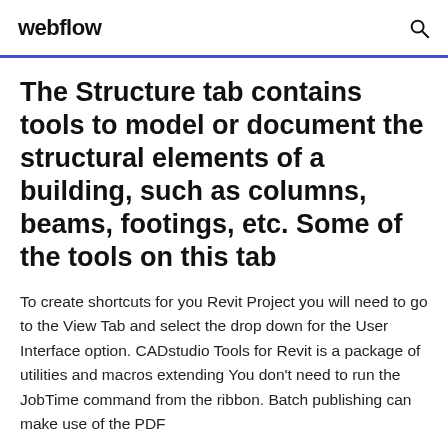webflow
The Structure tab contains tools to model or document the structural elements of a building, such as columns, beams, footings, etc. Some of the tools on this tab
To create shortcuts for you Revit Project you will need to go to the View Tab and select the drop down for the User Interface option. CADstudio Tools for Revit is a package of utilities and macros extending You don't need to run the JobTime command from the ribbon. Batch publishing can make use of the PDF